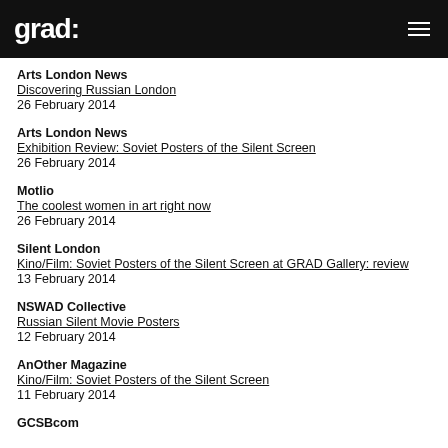grad:
Arts London News
Discovering Russian London
26 February 2014
Arts London News
Exhibition Review: Soviet Posters of the Silent Screen
26 February 2014
Motlio
The coolest women in art right now
26 February 2014
Silent London
Kino/Film: Soviet Posters of the Silent Screen at GRAD Gallery: review
13 February 2014
NSWAD Collective
Russian Silent Movie Posters
12 February 2014
AnOther Magazine
Kino/Film: Soviet Posters of the Silent Screen
11 February 2014
GCSBcom